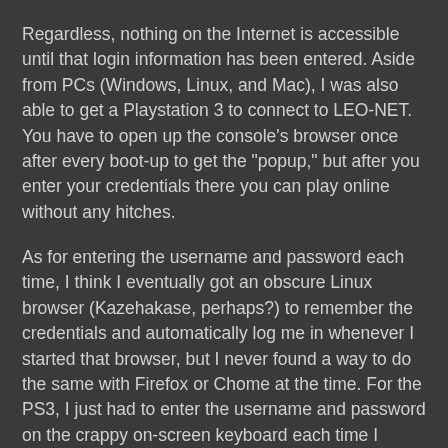Regardless, nothing on the Internet is accessible until that login information has been entered. Aside from PCs (Windows, Linux, and Mac), I was also able to get a Playstation 3 to connect to LEO-NET. You have to open up the console's browser once after every boot-up to get the "popup," but after you enter your credentials there you can play online without any hitches.
As for entering the username and password each time, I think I eventually got an obscure Linux browser (Kazehakase, perhaps?) to remember the credentials and automatically log me in whenever I started that browser, but I never found a way to do the same with Firefox or Chome at the time. For the PS3, I just had to enter the username and password on the crappy on-screen keyboard each time I played.
Multiple Devices
My other major complaint with the default setup is that it only allows you to attach one device to the Internet at a time. A